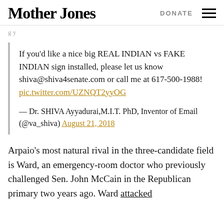Mother Jones | DONATE
g y
If you’d like a nice big REAL INDIAN vs FAKE INDIAN sign installed, please let us know shiva@shiva4senate.com or call me at 617-500-1988! pic.twitter.com/UZNQT2yyOG

— Dr. SHIVA Ayyadurai,M.I.T. PhD, Inventor of Email (@va_shiva) August 21, 2018
Arpaio’s most natural rival in the three-candidate field is Ward, an emergency-room doctor who previously challenged Sen. John McCain in the Republican primary two years ago. Ward attacked